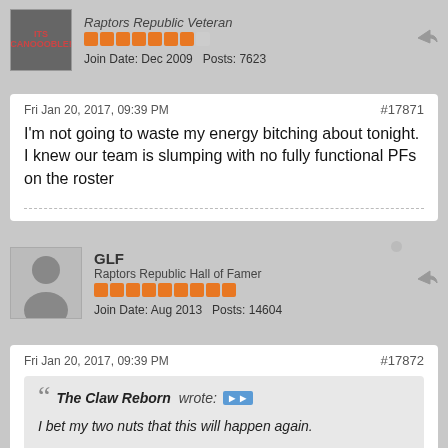Raptors Republic Veteran | Join Date: Dec 2009 | Posts: 7623
Fri Jan 20, 2017, 09:39 PM | #17871
I'm not going to waste my energy bitching about tonight. I knew our team is slumping with no fully functional PFs on the roster
GLF | Raptors Republic Hall of Famer | Join Date: Aug 2013 | Posts: 14604
Fri Jan 20, 2017, 09:39 PM | #17872
The Claw Reborn wrote: I bet my two nuts that this will happen again. Stand around basketball